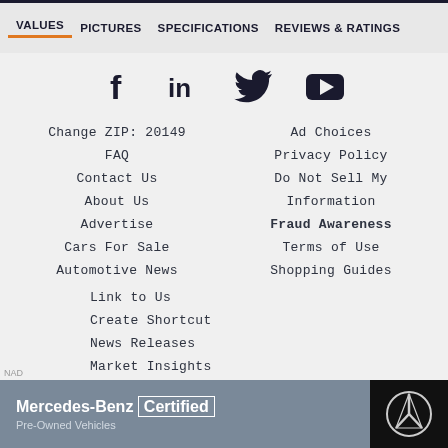VALUES | PICTURES | SPECIFICATIONS | REVIEWS & RATINGS
[Figure (infographic): Social media icons: Facebook, LinkedIn, Twitter, YouTube]
Change ZIP: 20149
FAQ
Contact Us
About Us
Advertise
Cars For Sale
Automotive News
Ad Choices
Privacy Policy
Do Not Sell My Information
Fraud Awareness
Terms of Use
Shopping Guides
Link to Us
Create Shortcut
News Releases
Market Insights
[Figure (infographic): Mercedes-Benz Certified Pre-Owned Vehicles advertisement banner with logo]